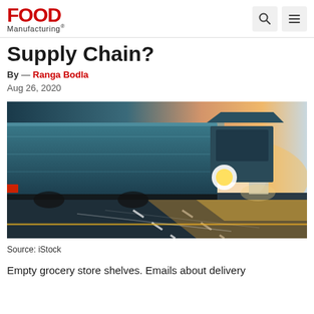FOOD Manufacturing
Supply Chain?
By — Ranga Bodla
Aug 26, 2020
[Figure (photo): Motion-blur photo of a large semi-truck trailer driving on a highway at sunset/dusk, with light streaks and warm orange glow on the road]
Source: iStock
Empty grocery store shelves. Emails about delivery